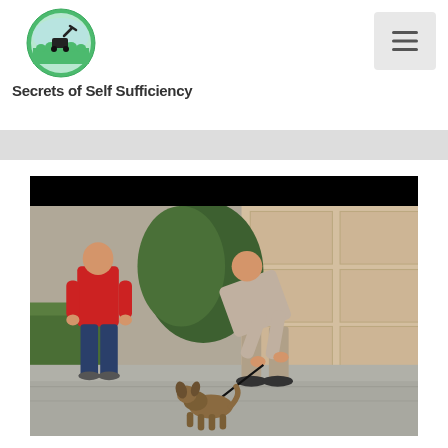[Figure (logo): Circular green logo with a lawn mower icon for Secrets of Self Sufficiency website]
Secrets of Self Sufficiency
[Figure (screenshot): Navigation hamburger menu button in gray box, top right]
[Figure (photo): Video thumbnail showing two people and a small dog on a driveway in front of a garage. Person on left wears red hoodie and jeans. Person on right in gray outfit bends down toward a small dog on a leash.]